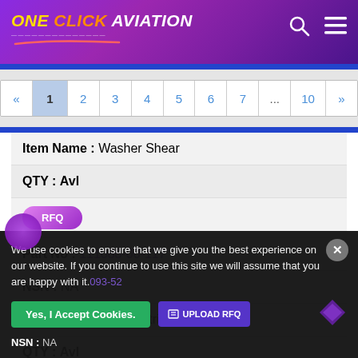ONE CLICK AVIATION
Item Name : Washer Shear
QTY : Avl
[Figure (other): RFQ button - pink/purple gradient pill button with text RFQ]
Part No : 111088-00-117
NSN : NA
Item Name : Sliding Strip
QTY : Avl
We use cookies to ensure that we give you the best experience on our website. If you continue to use this site we will assume that you are happy with it.
Yes, I Accept Cookies.
UPLOAD RFQ
NSN : NA